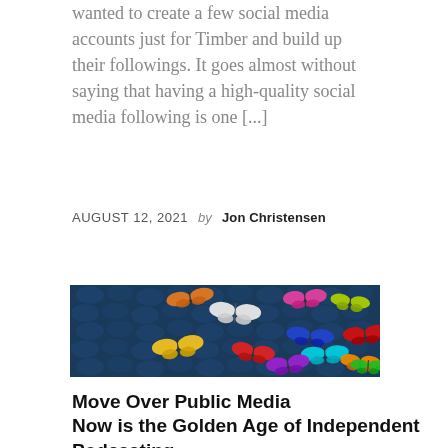wanted to create a few social media accounts just for Timber and build up their followings. It goes almost without saying that having a high-quality social media following is one [...]
AUGUST 12, 2021  by  Jon Christensen
[Figure (photo): Photo of colorful butterfly decorations or models on a dark blue textured background. Butterflies are in various colors including orange, white, yellow, pink, blue, cyan, red, purple, green.]
Move Over Public Media Now is the Golden Age of Independent Podcasting